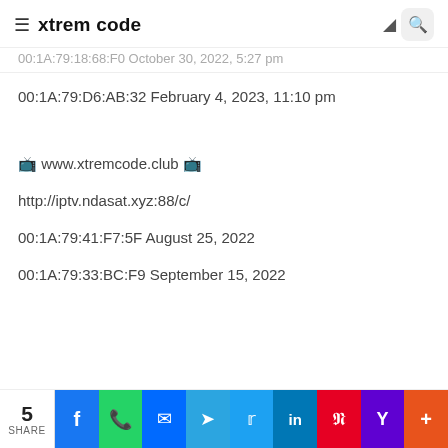xtrem code
00:1A:79:18:68:F0 October 30, 2022, 5:27 pm
00:1A:79:D6:AB:32 February 4, 2023, 11:10 pm
🔲 www.xtremcode.club 🔲
http://iptv.ndasat.xyz:88/c/
00:1A:79:41:F7:5F August 25, 2022
00:1A:79:33:BC:F9 September 15, 2022
5 SHARE | Facebook | WhatsApp | Messenger | Telegram | Twitter | LinkedIn | Pinterest | Yahoo | More